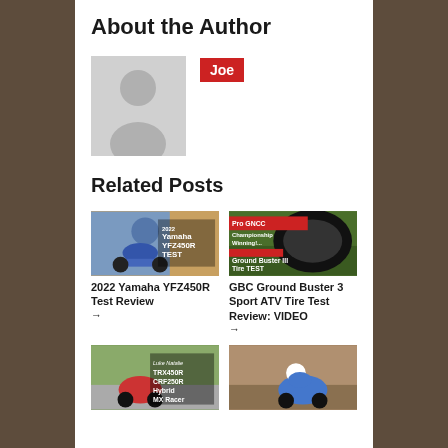About the Author
[Figure (illustration): Gray placeholder avatar silhouette]
Joe
Related Posts
[Figure (photo): 2022 Yamaha YFZ450R TEST - ATV rider on sand dunes]
2022 Yamaha YFZ450R Test Review →
[Figure (photo): GBC Ground Buster III Tire TEST - GNCC Championship Winning]
GBC Ground Buster 3 Sport ATV Tire Test Review: VIDEO →
[Figure (photo): Luke Natalie TRX450R CRF250R Hybrid MX Racer]
[Figure (photo): ATV rider action photo]